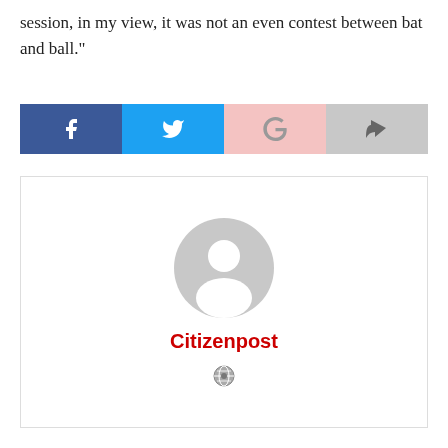session, in my view, it was not an even contest between bat and ball."
[Figure (other): Social share buttons: Facebook (dark blue), Twitter (light blue), Google+ (light pink), Share (light gray)]
[Figure (other): Author card with generic gray avatar icon, bold red name 'Citizenpost', and a small globe/website icon below]